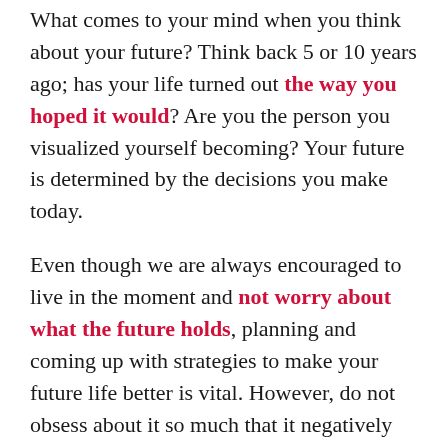What comes to your mind when you think about your future? Think back 5 or 10 years ago; has your life turned out the way you hoped it would? Are you the person you visualized yourself becoming? Your future is determined by the decisions you make today.
Even though we are always encouraged to live in the moment and not worry about what the future holds, planning and coming up with strategies to make your future life better is vital. However, do not obsess about it so much that it negatively affects how you live today. After all, if you believe in fate, what is meant to happen, will happen.